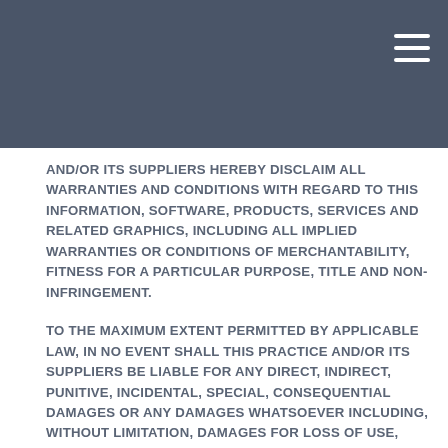AND/OR ITS SUPPLIERS HEREBY DISCLAIM ALL WARRANTIES AND CONDITIONS WITH REGARD TO THIS INFORMATION, SOFTWARE, PRODUCTS, SERVICES AND RELATED GRAPHICS, INCLUDING ALL IMPLIED WARRANTIES OR CONDITIONS OF MERCHANTABILITY, FITNESS FOR A PARTICULAR PURPOSE, TITLE AND NON-INFRINGEMENT.
TO THE MAXIMUM EXTENT PERMITTED BY APPLICABLE LAW, IN NO EVENT SHALL THIS PRACTICE AND/OR ITS SUPPLIERS BE LIABLE FOR ANY DIRECT, INDIRECT, PUNITIVE, INCIDENTAL, SPECIAL, CONSEQUENTIAL DAMAGES OR ANY DAMAGES WHATSOEVER INCLUDING, WITHOUT LIMITATION, DAMAGES FOR LOSS OF USE, DATA OR PROFITS, ARISING OUT OF OR IN ANY WAY